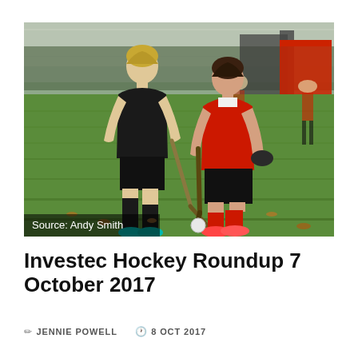[Figure (photo): Two female field hockey players competing for the ball on a green artificial turf pitch. The player on the left wears a black kit; the player on the right wears a red and white kit. Both are leaning forward with hockey sticks. Source credit: Andy Smith shown in bottom-left corner of photo.]
Source: Andy Smith
Investec Hockey Roundup 7 October 2017
JENNIE POWELL   8 OCT 2017